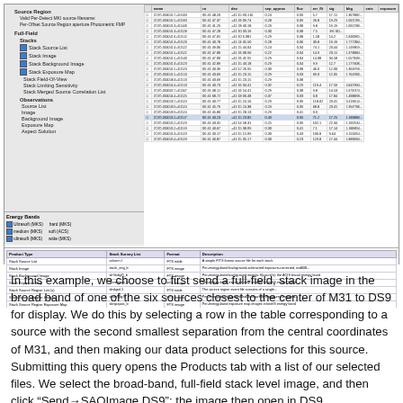[Figure (screenshot): Screenshot of a data portal or astronomical archive query interface showing a left panel with source region and full-field options with checkboxes (Stack Source List, Stack Image, Stack Background Image, Stack Exposure Map, etc.), observations section, and energy bands panel. The right panel shows a data table with columns for source IDs, coordinates, and other measurements. A row is highlighted/selected. Below is a products table with columns for Product Type, Stack Survey List, Format, and Description.]
In this example, we choose to first send a full-field, stack image in the broad band of one of the six sources closest to the center of M31 to DS9 for display. We do this by selecting a row in the table corresponding to a source with the second smallest separation from the central coordinates of M31, and then making our data product selections for this source. Submitting this query opens the Products tab with a list of our selected files. We select the broad-band, full-field stack level image, and then click "Send→SAOImage DS9"; the image then open in DS9.